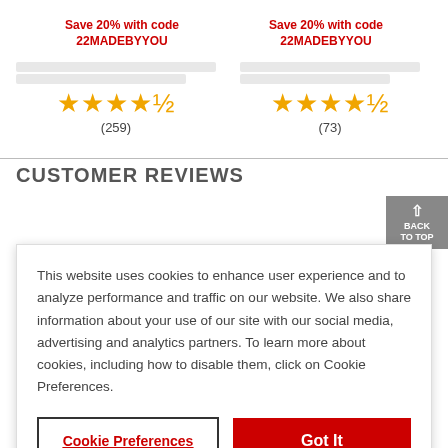Save 20% with code 22MADEBYYOU (left)
Save 20% with code 22MADEBYYOU (right)
[Figure (other): Star rating 4.5 stars with (259) reviews]
[Figure (other): Star rating 4.5 stars with (73) reviews]
CUSTOMER REVIEWS
This website uses cookies to enhance user experience and to analyze performance and traffic on our website. We also share information about your use of our site with our social media, advertising and analytics partners. To learn more about cookies, including how to disable them, click on Cookie Preferences.
Cookie Preferences
Got It
3★ bar, value 4
2★ bar, value 0